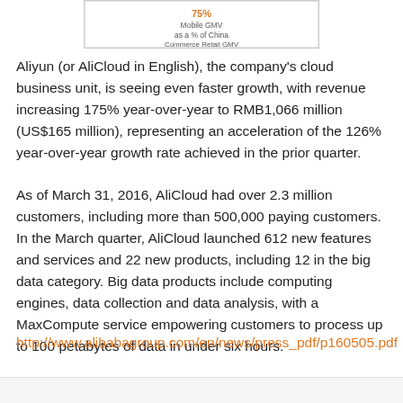[Figure (other): Partial chart showing '75% Mobile GMV as a % of China Commerce Retail GMV' label, cropped at top of page]
Aliyun (or AliCloud in English), the company's cloud business unit, is seeing even faster growth, with revenue increasing 175% year-over-year to RMB1,066 million (US$165 million), representing an acceleration of the 126% year-over-year growth rate achieved in the prior quarter.
As of March 31, 2016, AliCloud had over 2.3 million customers, including more than 500,000 paying customers. In the March quarter, AliCloud launched 612 new features and services and 22 new products, including 12 in the big data category. Big data products include computing engines, data collection and data analysis, with a MaxCompute service empowering customers to process up to 100 petabytes of data in under six hours.
http://www.alibabagroup.com/en/news/press_pdf/p160505.pdf